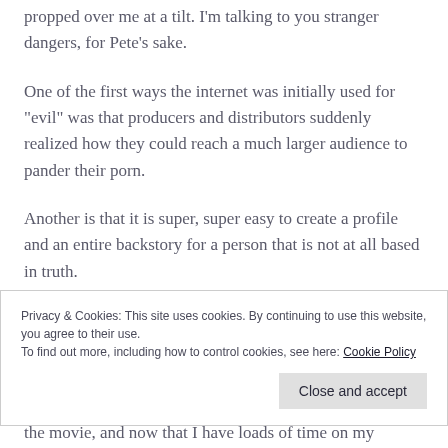propped over me at a tilt. I'm talking to you stranger dangers, for Pete's sake.
One of the first ways the internet was initially used for “evil” was that producers and distributors suddenly realized how they could reach a much larger audience to pander their porn.
Another is that it is super, super easy to create a profile and an entire backstory for a person that is not at all based in truth.
Privacy & Cookies: This site uses cookies. By continuing to use this website, you agree to their use. To find out more, including how to control cookies, see here: Cookie Policy
the movie, and now that I have loads of time on my